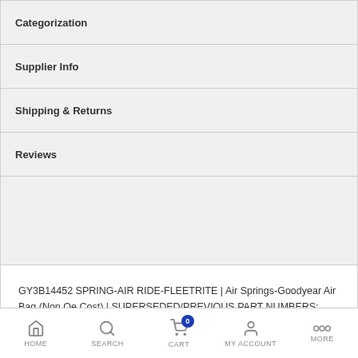Categorization
Supplier Info
Shipping & Returns
Reviews
GY3B14452 SPRING-AIR RIDE-FLEETRITE | Air Springs-Goodyear Air Bag (Non Oe Cost) | SUPERSEDED/PREVIOUS PART NUMBERS: GY3B14-452 Categorization: 57B GOODYEAR AIR BAG (OE COST) | 00005 | AB702 GOODYEAR AIR BAG (OE COST) | 780 AIR BAGS | UNDERCARRIAGE | Suspension | Air Springs
HOME  SEARCH  CART  MY ACCOUNT  MORE